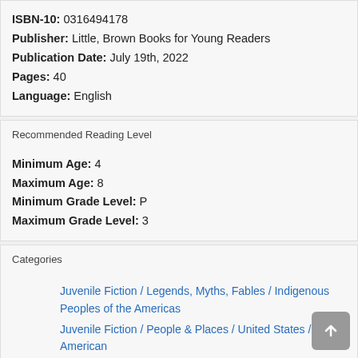ISBN-10: 0316494178
Publisher: Little, Brown Books for Young Readers
Publication Date: July 19th, 2022
Pages: 40
Language: English
Recommended Reading Level
Minimum Age: 4
Maximum Age: 8
Minimum Grade Level: P
Maximum Grade Level: 3
Categories
Juvenile Fiction / Legends, Myths, Fables / Indigenous Peoples of the Americas
Juvenile Fiction / People & Places / United States / Native American
Juvenile Fiction / Family / New Baby